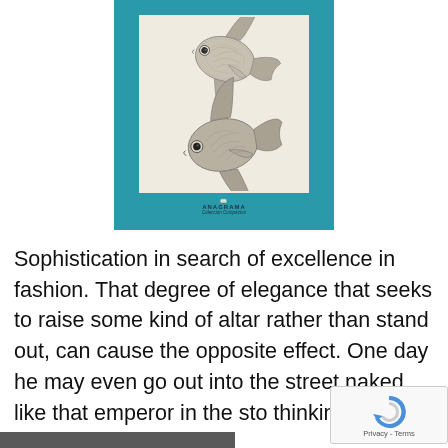[Figure (illustration): Book cover with teal/turquoise background, containing a beige/cream inner panel showing two fish illustrations (angelfish style) in pencil/graphite sketch style. One fish faces lower-left at top, another faces left at bottom. Below the image panel is the publisher text: ANAGRAMA / Colección Compactos.]
Sophistication in search of excellence in fashion. That degree of elegance that seeks to raise some kind of altar rather than stand out, can cause the opposite effect. One day he may even go out into the street naked like that emperor in the sto thinking that he is leaving...